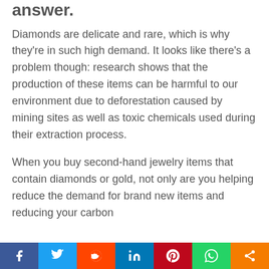answer.
Diamonds are delicate and rare, which is why they're in such high demand. It looks like there's a problem though: research shows that the production of these items can be harmful to our environment due to deforestation caused by mining sites as well as toxic chemicals used during their extraction process.
When you buy second-hand jewelry items that contain diamonds or gold, not only are you helping reduce the demand for brand new items and reducing your carbon…